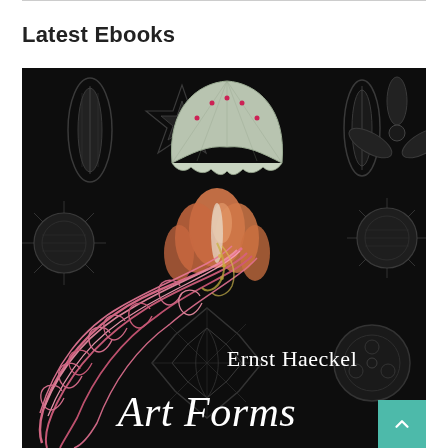Latest Ebooks
[Figure (illustration): Book cover of 'Art Forms' by Ernst Haeckel. Dark black background featuring detailed botanical and marine illustrations in grayscale — including sea urchins, star-shaped forms, and seed pods. A colorful jellyfish with pink tendrils and orange-toned bell dominates the center. Author name 'Ernst Haeckel' in white serif text, and title 'Art Forms' in large white serif text at the bottom.]